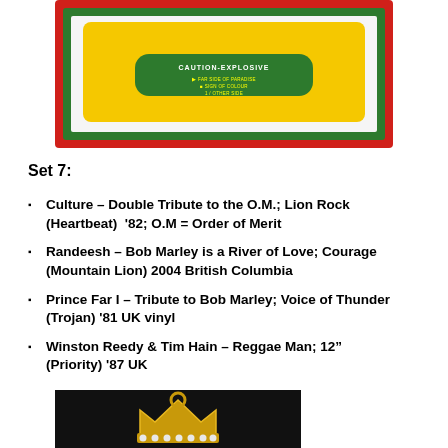[Figure (photo): Cassette tape label with red and green border, yellow center, reading CAUTION-EXPLOSIVE with additional small text]
Set 7:
Culture – Double Tribute to the O.M.; Lion Rock (Heartbeat)  '82; O.M = Order of Merit
Randeesh – Bob Marley is a River of Love; Courage (Mountain Lion) 2004 British Columbia
Prince Far I – Tribute to Bob Marley; Voice of Thunder (Trojan) '81 UK vinyl
Winston Reedy & Tim Hain – Reggae Man; 12" (Priority) '87 UK
[Figure (photo): Gold crown pendant/charm on black background]